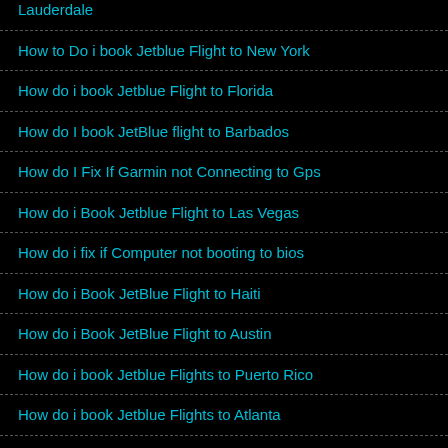Lauderdale
How to Do i book Jetblue Flight to New York
How do i book Jetblue Flight to Florida
How do I book JetBlue flight to Barbados
How do I Fix If Garmin not Connecting to Gps
How do i Book Jetblue Flight to Las Vegas
How do i fix if Computer not booting to bios
How do i Book JetBlue Flight to Haiti
How do i Book JetBlue Flight to Austin
How do i book Jetblue Flights to Puerto Rico
How do i book Jetblue Flights to Atlanta
What are the benefits of choosing Internet Bundles
Learn How do i talk to someone at Copa Airlines
How do i talk to someone at Allegiant Airlines?